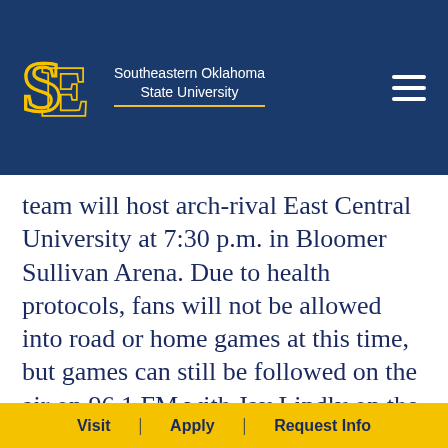Southeastern Oklahoma State University
team will host arch-rival East Central University at 7:30 p.m. in Bloomer Sullivan Arena. Due to health protocols, fans will not be allowed into road or home games at this time, but games can still be followed on the air on 96.1 FM with Jay Lindly on the call as [...]
Visit | Apply | Request Info